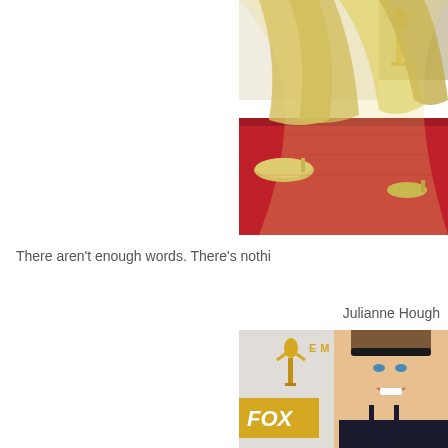[Figure (photo): Photo of a golden sheer dress trailing on a red carpet at Emmy Awards event, showing the bottom hem and gold high-heeled shoes]
There aren't enough words. There's nothi
Julianne Hough
[Figure (photo): Photo of Julianne Hough smiling at Emmy Awards red carpet event, wearing a black lace dress with headband, with FOX logo backdrop visible]